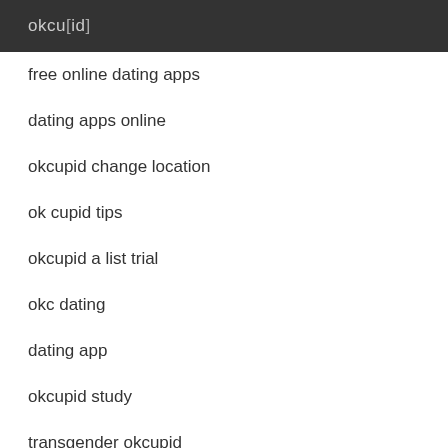okcupid
free online dating apps
dating apps online
okcupid change location
ok cupid tips
okcupid a list trial
okc dating
dating app
okcupid study
transgender okcupid
how to delete okcupid account on app
okcupid opening message